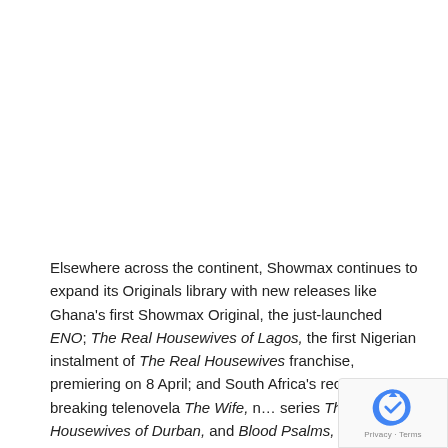Elsewhere across the continent, Showmax continues to expand its Originals library with new releases like Ghana's first Showmax Original, the just-launched ENO; The Real Housewives of Lagos, the first Nigerian instalment of The Real Housewives franchise, premiering on 8 April; and South Africa's record-breaking telenovela The Wife, n… series TheReal Housewives of Durban, and Blood Psalms, the upcoming epic fantasy series set in ancient
[Figure (logo): Google reCAPTCHA badge in the bottom-right corner with blue reCAPTCHA logo icon and 'Privacy - Terms' text]